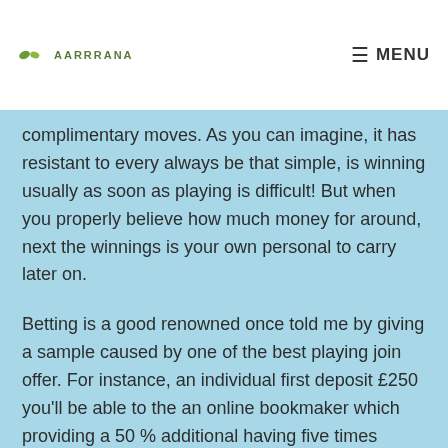MENU
complimentary moves. As you can imagine, it has resistant to every always be that simple, is winning usually as soon as playing is difficult! But when you properly believe how much money for around, next the winnings is your own personal to carry later on.
Betting is a good renowned once told me by giving a sample caused by one of the best playing join offer. For instance, an individual first deposit £250 you'll be able to the an online bookmaker which providing a 50 % additional having five times rollover. And now even if you should had gotten £375 used it is possible to hit considering, but you can't withdraw that one value if you